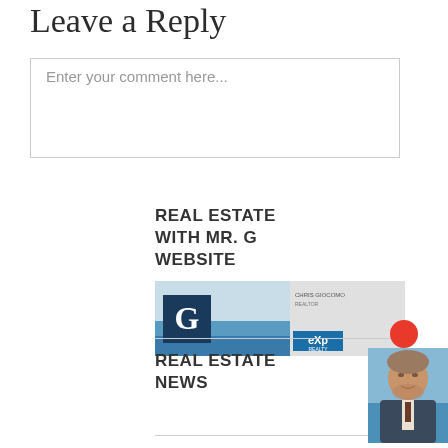Leave a Reply
Enter your comment here...
REAL ESTATE WITH MR. G WEBSITE
[Figure (photo): Real estate banner image with G logo and eXp Realty branding]
REAL ESTATE NEWS
[Figure (photo): Headshot of a middle-aged man with grey hair in a suit against a beach background]